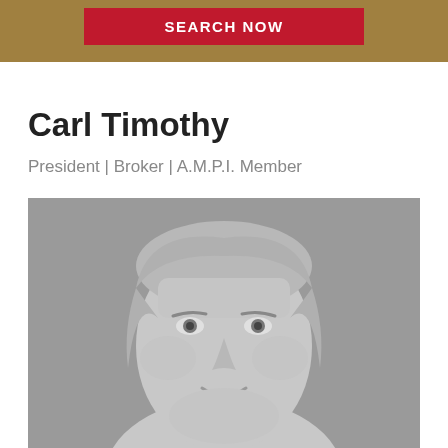SEARCH NOW
Carl Timothy
President | Broker | A.M.P.I. Member
[Figure (photo): Grayscale headshot portrait of Carl Timothy, a middle-aged man with light hair, smiling, against a gray background.]